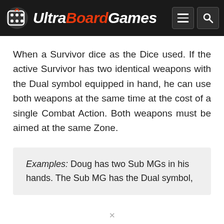UltraBoardGames
When a Survivor dice as the Dice used. If the active Survivor has two identical weapons with the Dual symbol equipped in hand, he can use both weapons at the same time at the cost of a single Combat Action. Both weapons must be aimed at the same Zone.
Examples: Doug has two Sub MGs in his hands. The Sub MG has the Dual symbol,